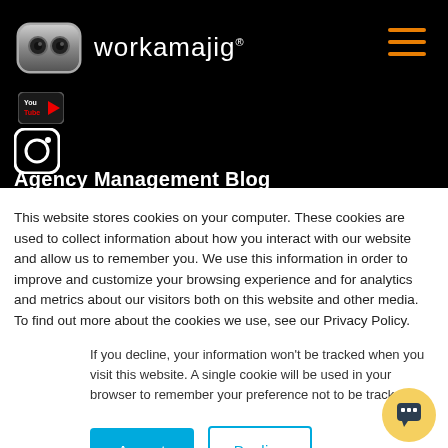[Figure (logo): Workamajig robot logo with brand name in white text on black background, hamburger menu icon in orange top right]
[Figure (logo): YouTube icon (small) on black background]
[Figure (logo): Instagram icon on black background]
Agency Management Blog
This website stores cookies on your computer. These cookies are used to collect information about how you interact with our website and allow us to remember you. We use this information in order to improve and customize your browsing experience and for analytics and metrics about our visitors both on this website and other media. To find out more about the cookies we use, see our Privacy Policy.
If you decline, your information won't be tracked when you visit this website. A single cookie will be used in your browser to remember your preference not to be tracked.
[Figure (other): Accept and Decline cookie consent buttons, and chat bubble icon]